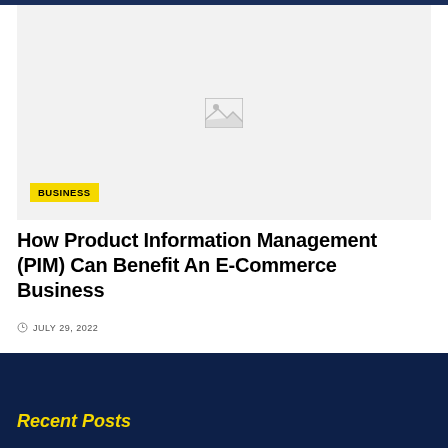[Figure (photo): Placeholder image with mountain/landscape icon on light gray background]
BUSINESS
How Product Information Management (PIM) Can Benefit An E-Commerce Business
JULY 29, 2022
Recent Posts